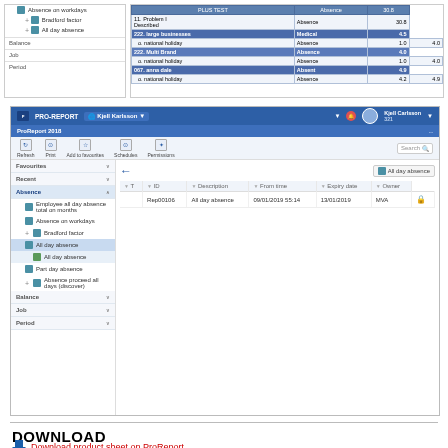[Figure (screenshot): ProReport application top portion showing left nav panel with Absence section items including Bradford factor and All day absence, and right panel showing a data table with employee absence data]
[Figure (screenshot): ProReport 2018 application full interface screenshot showing navigation panel on left with Favourites, Recent, Absence sections (Employee all day absence, Absence on workdays, Bradford factor, All day absence highlighted, Part day absence, Absence proceed all days), Balance, Job, Period sections, and main content showing All day absence report with columns for ID, Description, From time, Expiry date, Owner, with one data row: Rep00106, All day absence, 09/01/2019 55:14, 13/01/2019, MVA]
DOWNLOAD
Download product sheet on ProReport